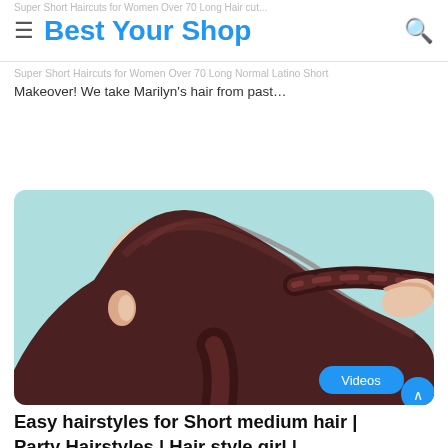Best Your Shop
Super Short Haircuts for Women Over 70 Long Hair cut... Makeover! We take Marilyn's hair from past…
Read More »
[Figure (photo): Woman with long dark brown hair styled in a sleek ponytail with a braid being created, light blue background, hand braiding the hair. 'Videos' badge overlay bottom right.]
Easy hairstyles for Short medium hair | Party Hairstyles | Hair style girl |